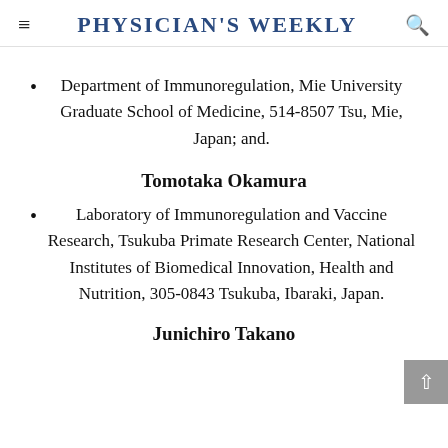Physician's Weekly
Department of Immunoregulation, Mie University Graduate School of Medicine, 514-8507 Tsu, Mie, Japan; and.
Tomotaka Okamura
Laboratory of Immunoregulation and Vaccine Research, Tsukuba Primate Research Center, National Institutes of Biomedical Innovation, Health and Nutrition, 305-0843 Tsukuba, Ibaraki, Japan.
Junichiro Takano